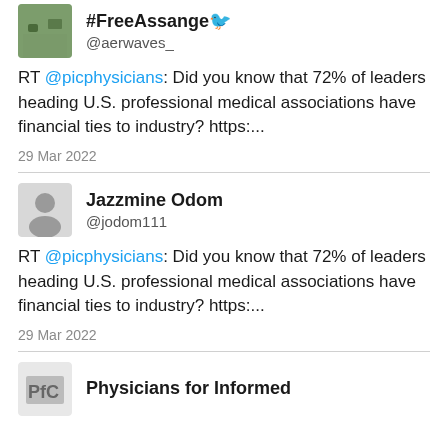#FreeAssange🐦 @aerwaves_
RT @picphysicians: Did you know that 72% of leaders heading U.S. professional medical associations have financial ties to industry? https:...
29 Mar 2022
Jazzmine Odom @jodom111
RT @picphysicians: Did you know that 72% of leaders heading U.S. professional medical associations have financial ties to industry? https:...
29 Mar 2022
Physicians for Informed